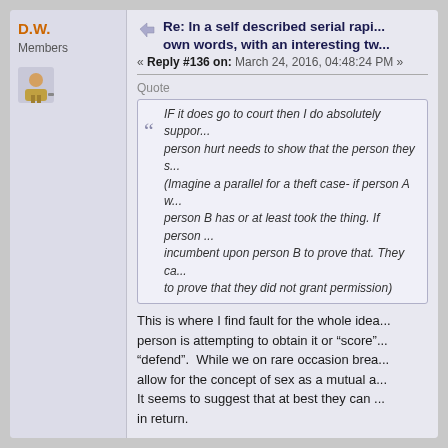D.W.
Members
Re: In a self described serial rapi... own words, with an interesting tw...
« Reply #136 on: March 24, 2016, 04:48:24 PM »
Quote
IF it does go to court then I do absolutely suppor... person hurt needs to show that the person they s... (Imagine a parallel for a theft case- if person A w... person B has or at least took the thing. If person ... incumbent upon person B to prove that. They ca... to prove that they did not grant permission)
This is where I find fault for the whole idea... person is attempting to obtain it or "score"... "defend". While we on rare occasion brea... allow for the concept of sex as a mutual a... It seems to suggest that at best they can ... in return.
If someone came to me and said, "We ha... took advantage of me." After an "Haha <... the next step is calling your lawyer. Not s... about how you can be more respectful to...
Quote